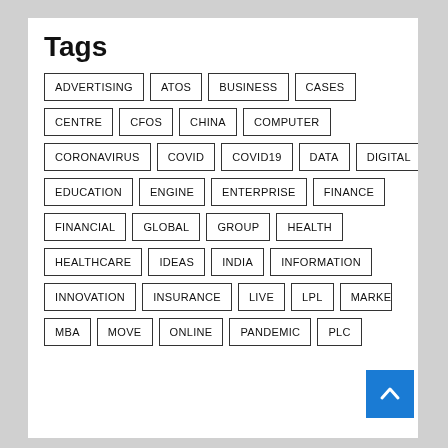Tags
ADVERTISING
ATOS
BUSINESS
CASES
CENTRE
CFOS
CHINA
COMPUTER
CORONAVIRUS
COVID
COVID19
DATA
DIGITAL
EDUCATION
ENGINE
ENTERPRISE
FINANCE
FINANCIAL
GLOBAL
GROUP
HEALTH
HEALTHCARE
IDEAS
INDIA
INFORMATION
INNOVATION
INSURANCE
LIVE
LPL
MARKE[T]
MBA
MOVE
ONLINE
PANDEMIC
PLC